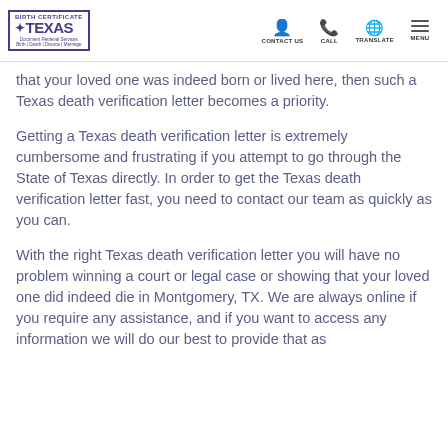BIRTH CERTIFICATE TEXAS | CONTACT US | CALL | TRANSLATE | MENU
that your loved one was indeed born or lived here, then such a Texas death verification letter becomes a priority.
Getting a Texas death verification letter is extremely cumbersome and frustrating if you attempt to go through the State of Texas directly. In order to get the Texas death verification letter fast, you need to contact our team as quickly as you can.
With the right Texas death verification letter you will have no problem winning a court or legal case or showing that your loved one did indeed die in Montgomery, TX. We are always online if you require any assistance, and if you want to access any information we will do our best to provide that as